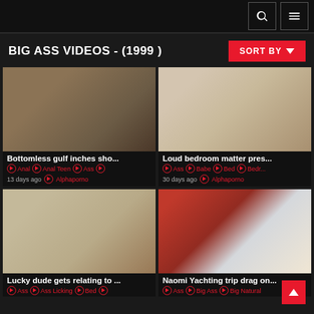Header bar with search and menu icons
BIG ASS VIDEOS - (1999 )
SORT BY
[Figure (photo): Thumbnail image for 'Bottomless gulf inches sho...' video]
Bottomless gulf inches sho...
Anal  Anal Teen  Ass
13 days ago  Alphaporno
[Figure (photo): Thumbnail image for 'Loud bedroom matter pres...' video]
Loud bedroom matter pres...
Ass  Babe  Bed  Bedr...
30 days ago  Alphaporno
[Figure (photo): Thumbnail image for 'Lucky dude gets relating to...' video]
Lucky dude gets relating to ...
Ass  Ass Licking  Bed
[Figure (photo): Thumbnail image for 'Naomi Yachting trip drag on...' video]
Naomi Yachting trip drag on...
Ass  Big Ass  Big Natural